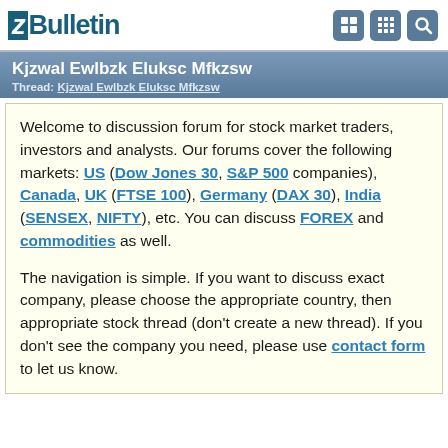vBulletin
Kjzwal Ewlbzk Eluksc Mfkzsw
Thread: Kjzwal Ewlbzk Eluksc Mfkzsw
Welcome to discussion forum for stock market traders, investors and analysts. Our forums cover the following markets: US (Dow Jones 30, S&P 500 companies), Canada, UK (FTSE 100), Germany (DAX 30), India (SENSEX, NIFTY), etc. You can discuss FOREX and commodities as well.
The navigation is simple. If you want to discuss exact company, please choose the appropriate country, then appropriate stock thread (don't create a new thread). If you don't see the company you need, please use contact form to let us know.